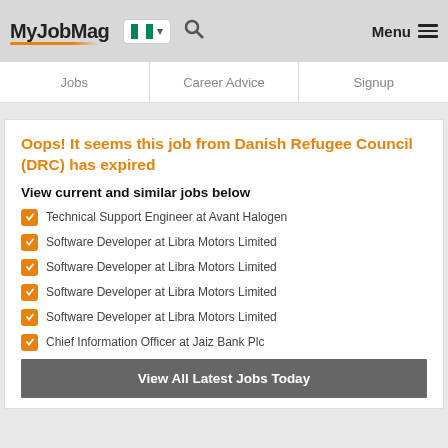MyJobMag
Jobs | Career Advice | Signup
Oops! It seems this job from Danish Refugee Council (DRC) has expired
View current and similar jobs below
Technical Support Engineer at Avant Halogen
Software Developer at Libra Motors Limited
Software Developer at Libra Motors Limited
Software Developer at Libra Motors Limited
Software Developer at Libra Motors Limited
Chief Information Officer at Jaiz Bank Plc
View All Latest Jobs Today